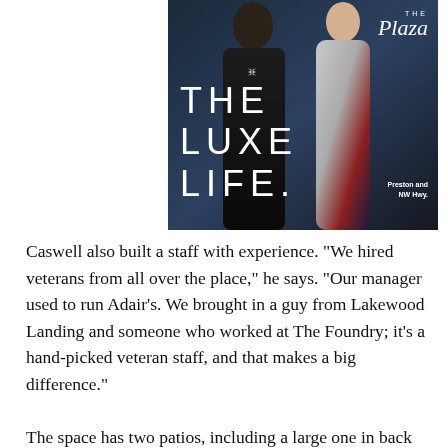[Figure (photo): Advertisement for The Plaza (Preston and NW Hwy.) showing a man in a black tuxedo and a woman in a colorful gown, with the text 'THE LUXE LIFE.' overlaid on the left side and 'The Plaza' script logo in the upper right.]
Caswell also built a staff with experience. "We hired veterans from all over the place," he says. "Our manager used to run Adair's. We brought in a guy from Lakewood Landing and someone who worked at The Foundry; it's a hand-picked veteran staff, and that makes a big difference."
The space has two patios, including a large one in back